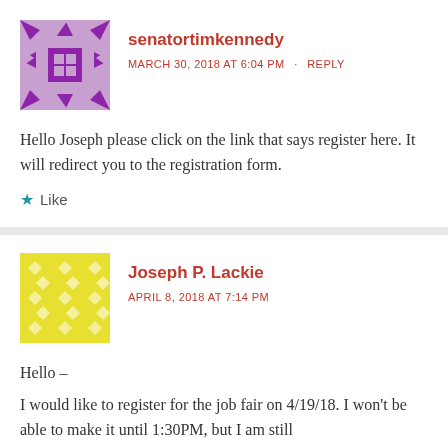[Figure (illustration): Purple geometric avatar for senatortimkennedy]
senatortimkennedy
MARCH 30, 2018 AT 6:04 PM · REPLY
Hello Joseph please click on the link that says register here. It will redirect you to the registration form.
Like
[Figure (illustration): Yellow geometric avatar for Joseph P. Lackie]
Joseph P. Lackie
APRIL 8, 2018 AT 7:14 PM
Hello –
I would like to register for the job fair on 4/19/18. I won't be able to make it until 1:30PM, but I am still